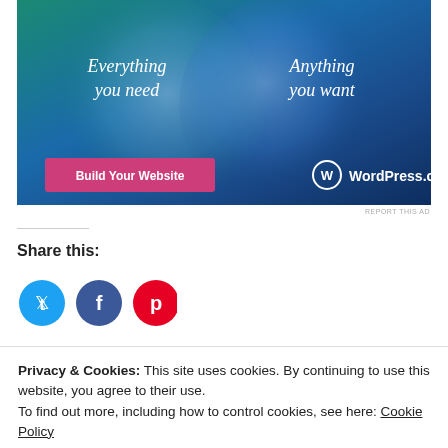[Figure (illustration): WordPress.com advertisement banner with teal and blue gradient background, two overlapping circles, text 'Everything you need' on left and 'Anything you want' on right, a pink 'Build Your Website' button, and WordPress.com logo]
REPORT THIS AD
Share this:
[Figure (illustration): Three social media icon circles: Twitter (blue), Facebook (dark blue), Pinterest (red)]
Privacy & Cookies: This site uses cookies. By continuing to use this website, you agree to their use.
To find out more, including how to control cookies, see here: Cookie Policy
Close and accept